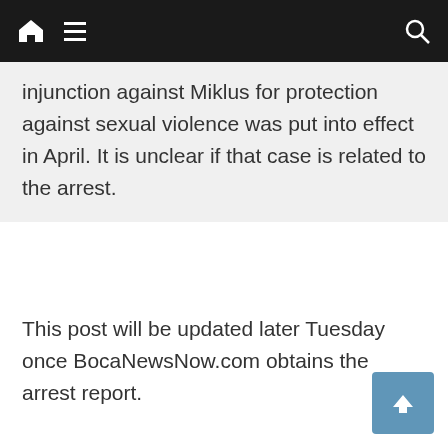Navigation bar with home icon, menu icon, and search icon
injunction against Miklus for protection against sexual violence was put into effect in April. It is unclear if that case is related to the arrest.
This post will be updated later Tuesday once BocaNewsNow.com obtains the arrest report.